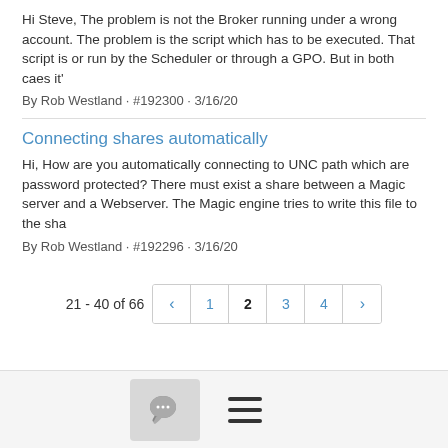Hi Steve, The problem is not the Broker running under a wrong account. The problem is the script which has to be executed. That script is or run by the Scheduler or through a GPO. But in both caes it'
By Rob Westland · #192300 · 3/16/20
Connecting shares automatically
Hi, How are you automatically connecting to UNC path which are password protected? There must exist a share between a Magic server and a Webserver. The Magic engine tries to write this file to the sha
By Rob Westland · #192296 · 3/16/20
21 - 40 of 66
[Figure (other): Chat bubble icon and hamburger menu icon in footer bar]